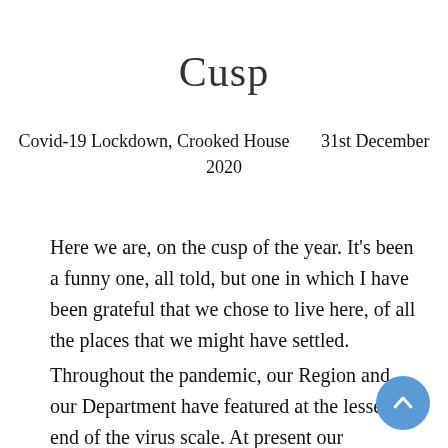Cusp
Covid-19 Lockdown, Crooked House     31st December 2020
Here we are, on the cusp of the year. It’s been a funny one, all told, but one in which I have been grateful that we chose to live here, of all the places that we might have settled.
Throughout the pandemic, our Region and our Department have featured at the lesser end of the virus scale. At present our Department, Vienne, is one of only 8 “green” departments remaining (and